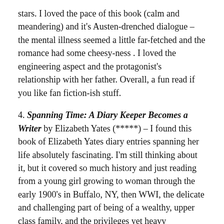stars. I loved the pace of this book (calm and meandering) and it's Austen-drenched dialogue – the mental illness seemed a little far-fetched and the romance had some cheesy-ness . I loved the engineering aspect and the protagonist's relationship with her father. Overall, a fun read if you like fan fiction-ish stuff.
4. Spanning Time: A Diary Keeper Becomes a Writer by Elizabeth Yates (*****) – I found this book of Elizabeth Yates diary entries spanning her life absolutely fascinating. I'm still thinking about it, but it covered so much history and just reading from a young girl growing to woman through the early 1900's in Buffalo, NY, then WWI, the delicate and challenging part of being of a wealthy, upper class family, and the privileges yet heavy expectations on her. This follows her determination and grit to go